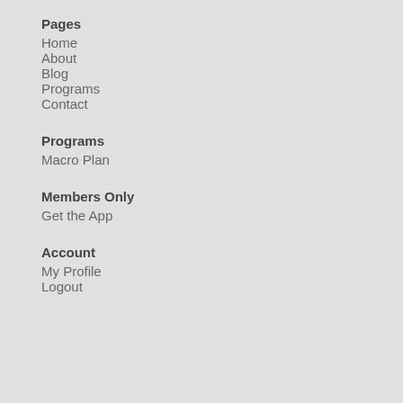Pages
Home
About
Blog
Programs
Contact
Programs
Macro Plan
Members Only
Get the App
Account
My Profile
Logout